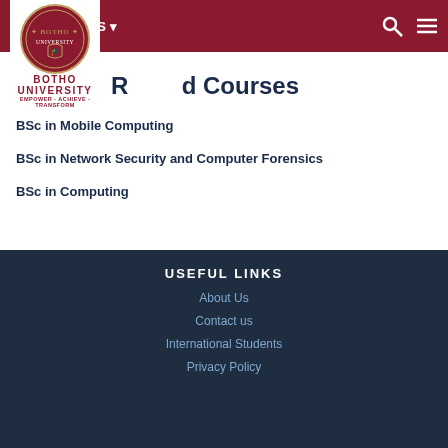[Figure (logo): Botho University circular seal/logo with text BOTHO UNIVERSITY]
Related Courses
BSc in Mobile Computing
BSc in Network Security and Computer Forensics
BSc in Computing
USEFUL LINKS
About Us
Contact us
International Students
Privacy Policy